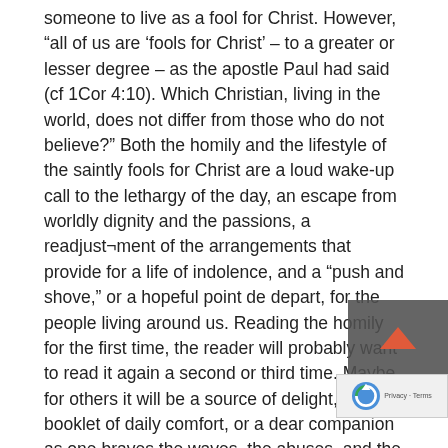someone to live as a fool for Christ. However, “all of us are ‘fools for Christ’ – to a greater or lesser degree – as the apostle Paul had said (cf 1Cor 4:10). Which Christian, living in the world, does not differ from those who do not believe?” Both the homily and the lifestyle of the saintly fools for Christ are a loud wake-up call to the lethargy of the day, an escape from worldly dignity and the passions, a readjust¬ment of the arrangements that provide for a life of indolence, and a “push and shove,” or a hopeful point de depart, for the people living around us. Reading the homily for the first time, the reader will probably want to read it again a second or third time. Maybe for others it will be a source of delight, a booklet of daily comfort, or a dear companion as one braves the waves, the abuses, and the false dreams of life. We wish this to be true from the depths of our soul.
From the Prologue of The Abbot of the Holy Monastery of Simonos Petras Archimandrite Elisaios.